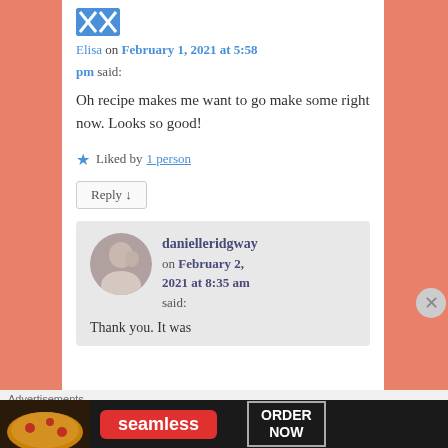Elisa on February 1, 2021 at 5:58 pm said:
Oh recipe makes me want to go make some right now. Looks so good!
★ Liked by 1 person
Reply ↓
[Figure (photo): Profile photo of danielleridgway - woman with child]
danielleridgway on February 2, 2021 at 8:35 am said:
Thank you. It was
Advertisements
[Figure (other): Seamless food delivery advertisement banner with pizza image and ORDER NOW button]